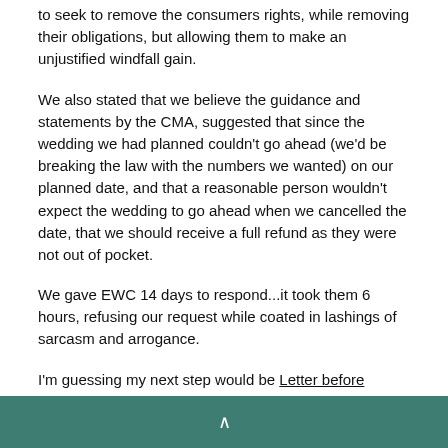to seek to remove the consumers rights, while removing their obligations, but allowing them to make an unjustified windfall gain.
We also stated that we believe the guidance and statements by the CMA, suggested that since the wedding we had planned couldn't go ahead (we'd be breaking the law with the numbers we wanted) on our planned date, and that a reasonable person wouldn't expect the wedding to go ahead when we cancelled the date, that we should receive a full refund as they were not out of pocket.
We gave EWC 14 days to respond...it took them 6 hours, refusing our request while coated in lashings of sarcasm and arrogance.
I'm guessing my next step would be Letter before Action?
Any help much appreciated.
Attached is the "Contract" - removed the signatures, but you can see the whole contract.
^